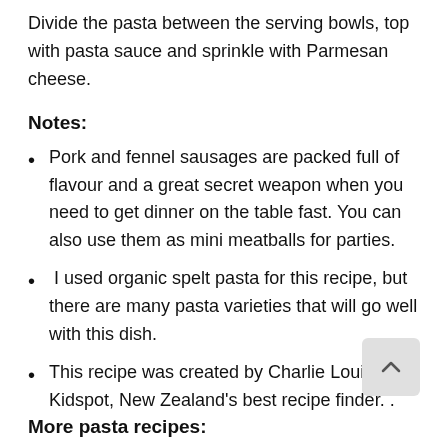Divide the pasta between the serving bowls, top with pasta sauce and sprinkle with Parmesan cheese.
Notes:
Pork and fennel sausages are packed full of flavour and a great secret weapon when you need to get dinner on the table fast. You can also use them as mini meatballs for parties.
I used organic spelt pasta for this recipe, but there are many pasta varieties that will go well with this dish.
This recipe was created by Charlie Louie for Kidspot, New Zealand's best recipe finder. .
More pasta recipes: